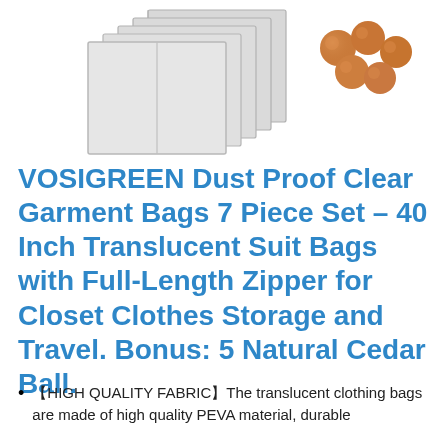[Figure (illustration): Stacked translucent garment bags (5 overlapping grey rectangles) on the left, and 5 cedar balls (brown spheres) on the right.]
VOSIGREEN Dust Proof Clear Garment Bags 7 Piece Set – 40 Inch Translucent Suit Bags with Full-Length Zipper for Closet Clothes Storage and Travel. Bonus: 5 Natural Cedar Ball.
【HIGH QUALITY FABRIC】The translucent clothing bags are made of high quality PEVA material, durable